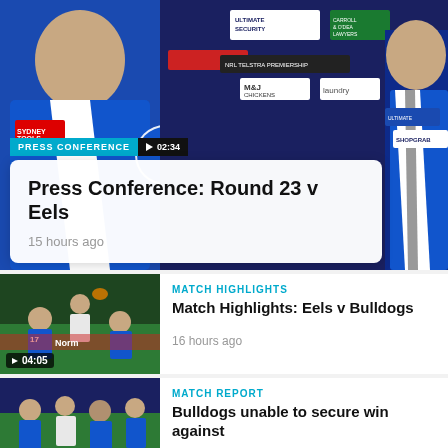[Figure (screenshot): Press conference video thumbnail showing NRL Bulldogs players in blue and white jerseys at a press conference table with sponsors including Sydney Tools, Ultimate Security, Carroll & O'Dea Lawyers, M&J Chickens, Laundry Hotels, ShopGrab visible in background.]
PRESS CONFERENCE  ▶ 02:34
Press Conference: Round 23 v Eels
15 hours ago
[Figure (screenshot): Match highlights video thumbnail showing NRL players on field during Eels v Bulldogs game]
▶ 04:05
MATCH HIGHLIGHTS
Match Highlights: Eels v Bulldogs
16 hours ago
[Figure (screenshot): Match report thumbnail showing NRL players during Bulldogs match]
MATCH REPORT
Bulldogs unable to secure win against